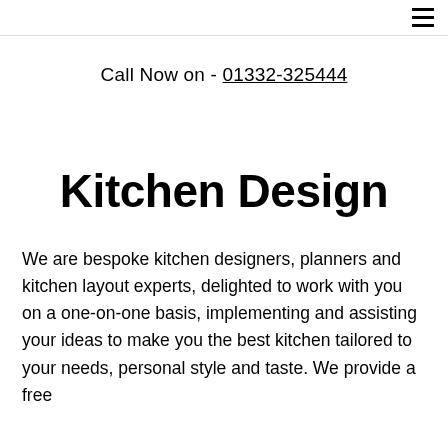☰
Call Now on - 01332-325444
Kitchen Design
We are bespoke kitchen designers, planners and kitchen layout experts, delighted to work with you on a one-on-one basis, implementing and assisting your ideas to make you the best kitchen tailored to your needs, personal style and taste. We provide a free